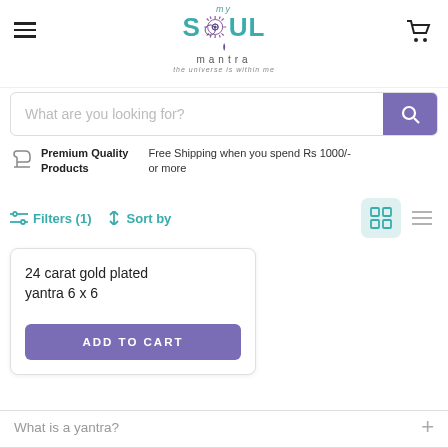[Figure (logo): my SOUL mantra logo with sun/spiral design and tagline 'the universe is within me']
What are you looking for?
Premium Quality Products
Free Shipping when you spend Rs 1000/- or more
Filters (1)   ↕ Sort by
24 carat gold plated yantra 6 x 6
ADD TO CART
What is a yantra?